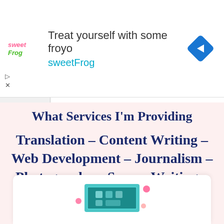[Figure (screenshot): Advertisement banner for sweetFrog frozen yogurt. Shows sweetFrog logo on left, headline 'Treat yourself with some froyo' and 'sweetFrog' subtext in center, blue diamond navigation icon on right. Play and close controls at bottom left.]
What Services I'm Providing
Translation – Content Writing – Web Development – Journalism – Photography – Screen Writing – Free Media Coaching
[Figure (illustration): Partial illustration of a computer/media device with colorful elements, partially visible at bottom of page inside a white card.]